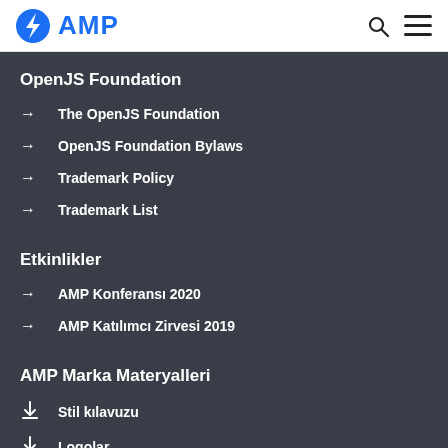AMP
OpenJS Foundation
The OpenJS Foundation
OpenJS Foundation Bylaws
Trademark Policy
Trademark List
Etkinlikler
AMP Konferansı 2020
AMP Katılımcı Zirvesi 2019
AMP Marka Materyalleri
Stil kılavuzu
Logolar